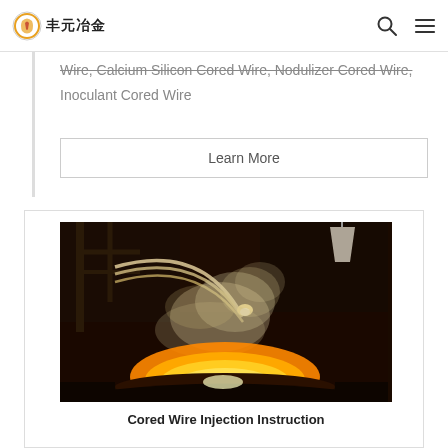丰元冶金
Wire, Calcium Silicon Cored Wire, Nodulizer Cored Wire, Inoculant Cored Wire
Learn More
[Figure (photo): Industrial molten metal wire injection process, showing glowing molten metal in a ladle with wire feed tubes arching overhead and steam/smoke rising]
Cored Wire Injection Instruction